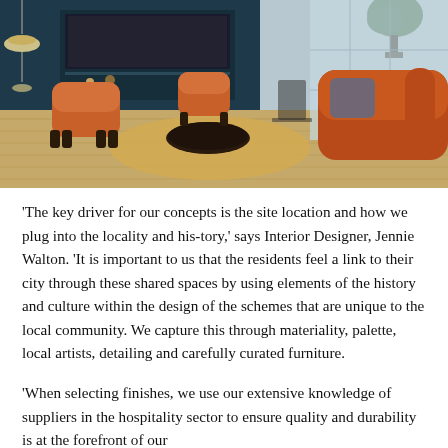[Figure (photo): Interior design photo showing a modern living room with orange/rust upholstered chairs and sofa, a round dark coffee table, golden-yellow circular rug, dark teal/navy accent wall with built-in shelving and a TV, light wood flooring, and floor-to-ceiling windows. Decorative pendant lights visible on left side.]
‘The key driver for our concepts is the site location and how we plug into the locality and his-tory,’ says Interior Designer, Jennie Walton. ‘It is important to us that the residents feel a link to their city through these shared spaces by using elements of the history and culture within the design of the schemes that are unique to the local community. We capture this through materiality, palette, local artists, detailing and carefully curated furniture.
‘When selecting finishes, we use our extensive knowledge of suppliers in the hospitality sector to ensure quality and durability is at the forefront of our